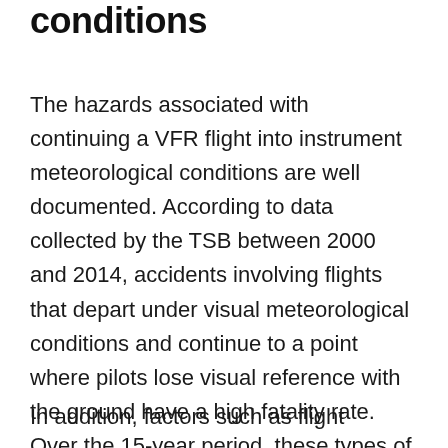conditions
The hazards associated with continuing a VFR flight into instrument meteorological conditions are well documented. According to data collected by the TSB between 2000 and 2014, accidents involving flights that depart under visual meteorological conditions and continue to a point where pilots lose visual reference with the ground have a high fatality rate. Over the 15-year period, these types of accidents resulted in 74 fatalities.
In addition, factors such as flight